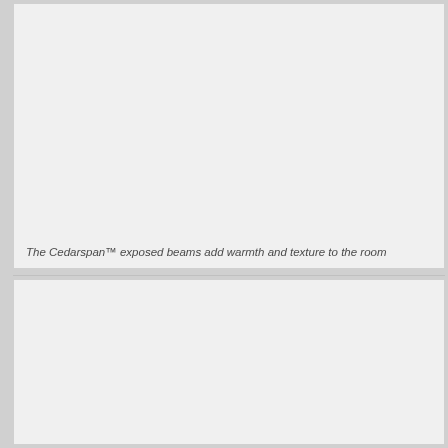[Figure (photo): Large image placeholder showing an interior room with Cedarspan exposed beams. The image area appears as a light gray rectangle occupying the upper portion of the page.]
The Cedarspan™ exposed beams add warmth and texture to the room
[Figure (photo): Second image placeholder showing additional view, appearing as a light gray rectangle occupying the lower portion of the page.]